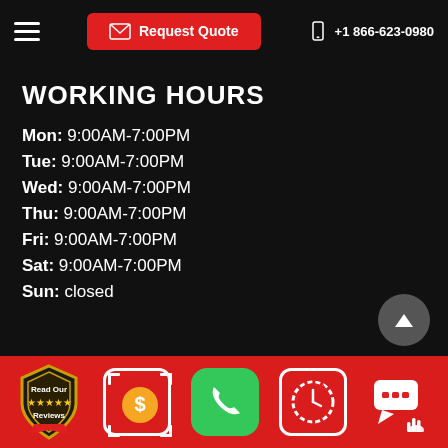Request Quote  +1 866-623-0980
WORKING HOURS
Mon: 9:00AM-7:00PM
Tue: 9:00AM-7:00PM
Wed: 9:00AM-7:00PM
Thu: 9:00AM-7:00PM
Fri: 9:00AM-7:00PM
Sat: 9:00AM-7:00PM
Sun: closed
Read Our Reviews | Price/Quote | Phone | Hours | Chat